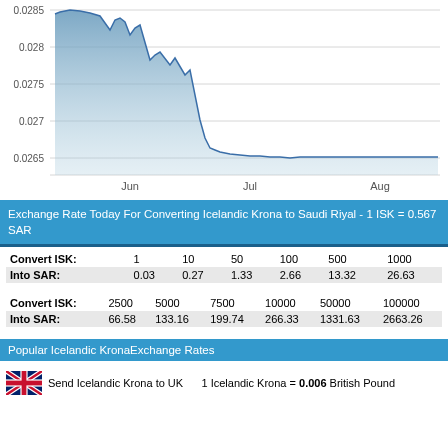[Figure (area-chart): Area chart showing ISK to SAR exchange rate from Jun to Aug. Rate starts near 0.0285, drops sharply to around 0.027 by late June, then stabilizes lower through Jul and Aug around 0.0265-0.027.]
Exchange Rate Today For Converting Icelandic Krona to Saudi Riyal - 1 ISK = 0.567 SAR
| Convert ISK: | 1 | 10 | 50 | 100 | 500 | 1000 |
| --- | --- | --- | --- | --- | --- | --- |
| Into SAR: | 0.03 | 0.27 | 1.33 | 2.66 | 13.32 | 26.63 |
| Convert ISK: | 2500 | 5000 | 7500 | 10000 | 50000 | 100000 |
| --- | --- | --- | --- | --- | --- | --- |
| Into SAR: | 66.58 | 133.16 | 199.74 | 266.33 | 1331.63 | 2663.26 |
Popular Icelandic KronaExchange Rates
Send Icelandic Krona to UK   1 Icelandic Krona = 0.006 British Pound